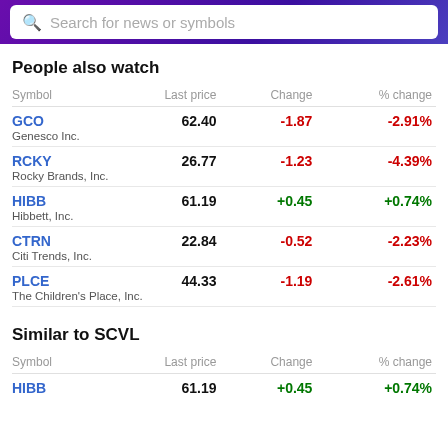[Figure (screenshot): Search bar with purple gradient background and white search input reading 'Search for news or symbols']
People also watch
| Symbol | Last price | Change | % change |
| --- | --- | --- | --- |
| GCO
Genesco Inc. | 62.40 | -1.87 | -2.91% |
| RCKY
Rocky Brands, Inc. | 26.77 | -1.23 | -4.39% |
| HIBB
Hibbett, Inc. | 61.19 | +0.45 | +0.74% |
| CTRN
Citi Trends, Inc. | 22.84 | -0.52 | -2.23% |
| PLCE
The Children's Place, Inc. | 44.33 | -1.19 | -2.61% |
Similar to SCVL
| Symbol | Last price | Change | % change |
| --- | --- | --- | --- |
| HIBB | 61.19 | +0.45 | +0.74% |